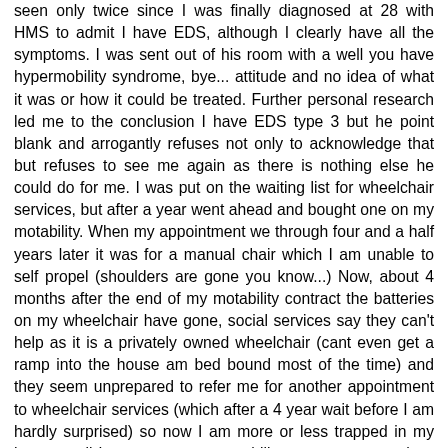seen only twice since I was finally diagnosed at 28 with HMS to admit I have EDS, although I clearly have all the symptoms. I was sent out of his room with a well you have hypermobility syndrome, bye... attitude and no idea of what it was or how it could be treated. Further personal research led me to the conclusion I have EDS type 3 but he point blank and arrogantly refuses not only to acknowledge that but refuses to see me again as there is nothing else he could do for me. I was put on the waiting list for wheelchair services, but after a year went ahead and bought one on my motability. When my appointment we through four and a half years later it was for a manual chair which I am unable to self propel (shoulders are gone you know...) Now, about 4 months after the end of my motability contract the batteries on my wheelchair have gone, social services say they can't help as it is a privately owned wheelchair (cant even get a ramp into the house am bed bound most of the time) and they seem unprepared to refer me for another appointment to wheelchair services (which after a 4 year wait before I am hardly surprised) so now I am more or less trapped in my home, until I can save up my mobility payments enough to fork out in excess of £300.00 for new batteries for my chair. It's no ones responsibility, but now